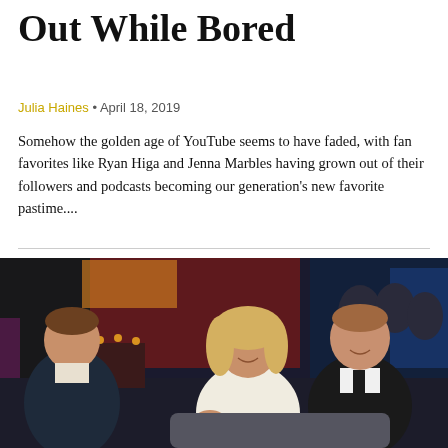Out While Bored
Julia Haines • April 18, 2019
Somehow the golden age of YouTube seems to have faded, with fan favorites like Ryan Higa and Jenna Marbles having grown out of their followers and podcasts becoming our generation's new favorite pastime....
[Figure (photo): Photo of three people on a TV show set: two men and a woman in formal attire laughing and talking on a stage with blue and red lighting and an audience in the background.]